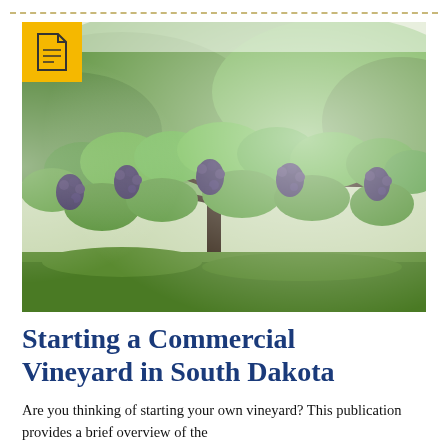[Figure (photo): A vineyard with grapevines heavy with dark purple/black grape clusters, lush green leaves, in a naturalistic outdoor setting. Image is slightly faded/washed out at edges.]
Starting a Commercial Vineyard in South Dakota
Are you thinking of starting your own vineyard? This publication provides a brief overview of the